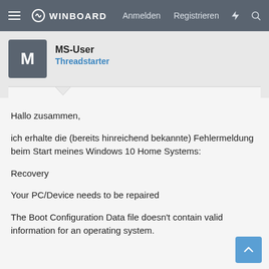WINBOARD  Anmelden  Registrieren
MS-User
Threadstarter
Hallo zusammen,

ích erhalte die (bereits hinreichend bekannte) Fehlermeldung beim Start meines Windows 10 Home Systems:

Recovery

Your PC/Device needs to be repaired

The Boot Configuration Data file doesn't contain valid information for an operating system.